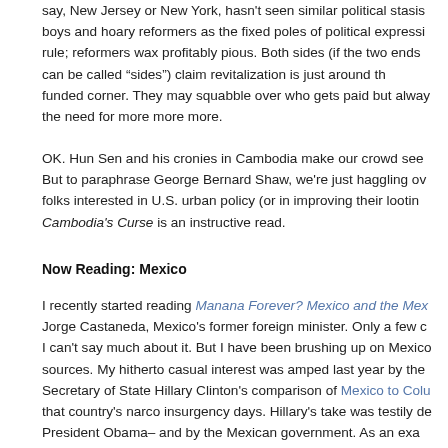say, New Jersey or New York, hasn't seen similar political stasis boys and hoary reformers as the fixed poles of political expression rule; reformers wax profitably pious. Both sides (if the two ends can be called “sides”) claim revitalization is just around the funded corner. They may squabble over who gets paid but always the need for more more more.
OK. Hun Sen and his cronies in Cambodia make our crowd seem. But to paraphrase George Bernard Shaw, we're just haggling over folks interested in U.S. urban policy (or in improving their looting Cambodia's Curse is an instructive read.
Now Reading: Mexico
I recently started reading Manana Forever? Mexico and the Mex Jorge Castaneda, Mexico's former foreign minister. Only a few c I can't say much about it. But I have been brushing up on Mexico sources. My hitherto casual interest was amped last year by the Secretary of State Hillary Clinton's comparison of Mexico to Colu that country's narco insurgency days. Hillary's take was testily de President Obama– and by the Mexican government. As an exa